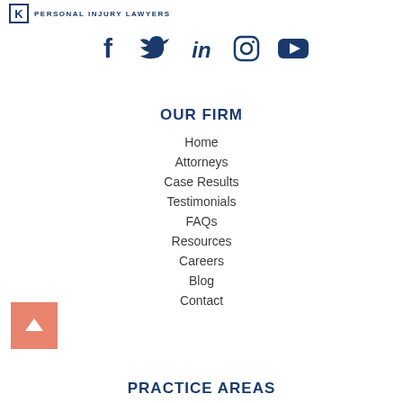[Figure (logo): Personal injury law firm logo with K icon and 'PERSONAL INJURY LAWYERS' text]
[Figure (infographic): Row of social media icons: Facebook, Twitter, LinkedIn, Instagram, YouTube in dark blue]
OUR FIRM
Home
Attorneys
Case Results
Testimonials
FAQs
Resources
Careers
Blog
Contact
[Figure (other): Back to top button - salmon/pink square with white up arrow]
PRACTICE AREAS